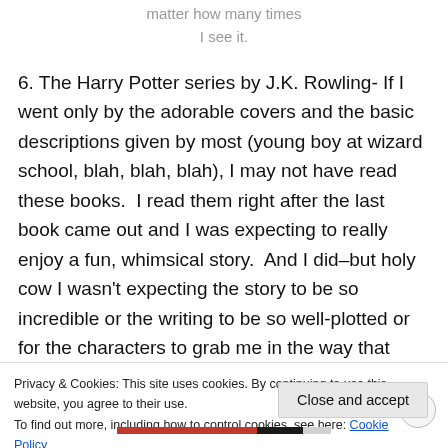matter how many times
I see it.
6. The Harry Potter series by J.K. Rowling- If I went only by the adorable covers and the basic descriptions given by most (young boy at wizard school, blah, blah, blah), I may not have read these books.  I read them right after the last book came out and I was expecting to really enjoy a fun, whimsical story.  And I did–but holy cow I wasn't expecting the story to be so incredible or the writing to be so well-plotted or for the characters to grab me in the way that
Privacy & Cookies: This site uses cookies. By continuing to use this website, you agree to their use.
To find out more, including how to control cookies, see here: Cookie Policy
Close and accept